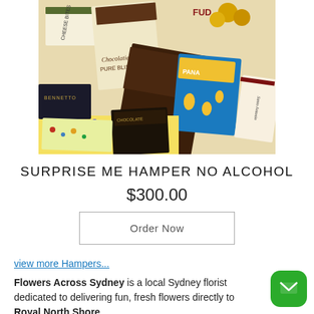[Figure (photo): Overhead view of a gift hamper filled with chocolates and snack products including Pana chocolate, Ferrero Rocher, and various other confectionery items in colourful packaging]
SURPRISE ME HAMPER NO ALCOHOL
$300.00
Order Now
view more Hampers...
Flowers Across Sydney is a local Sydney florist dedicated to delivering fun, fresh flowers directly to Royal North Shore